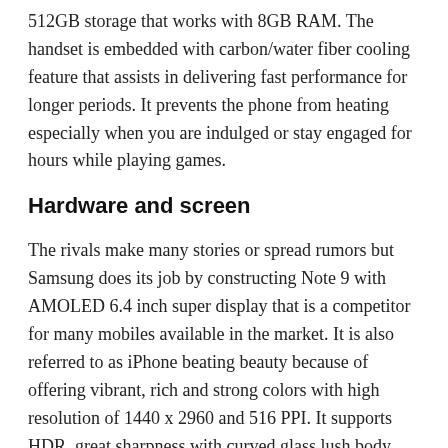512GB storage that works with 8GB RAM. The handset is embedded with carbon/water fiber cooling feature that assists in delivering fast performance for longer periods. It prevents the phone from heating especially when you are indulged or stay engaged for hours while playing games.
Hardware and screen
The rivals make many stories or spread rumors but Samsung does its job by constructing Note 9 with AMOLED 6.4 inch super display that is a competitor for many mobiles available in the market. It is also referred to as iPhone beating beauty because of offering vibrant, rich and strong colors with high resolution of 1440 x 2960 and 516 PPI. It supports HDR, great sharpness with curved glass lush body.
What can Samsung Note 9 do?
Following are the latest and cool Note 9 features enabling users to take full advantage of it.